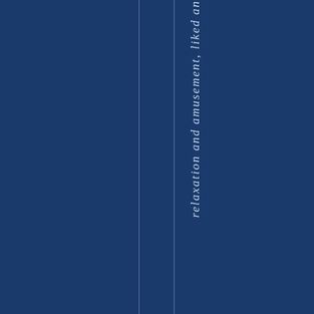relaxation and amusement, liked an